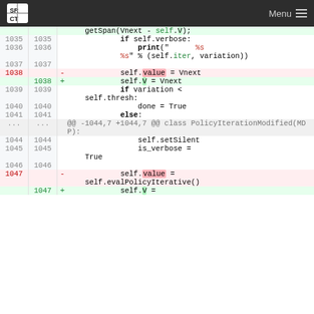SRCT Menu
[Figure (screenshot): Code diff view showing Python source changes around lines 1035-1047, with deleted lines (red background) replacing self.value with self.V, and added lines (green background) with the new self.V assignments.]